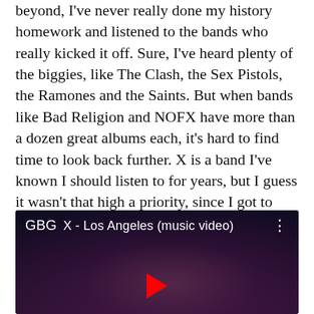beyond, I've never really done my history homework and listened to the bands who really kicked it off. Sure, I've heard plenty of the biggies, like The Clash, the Sex Pistols, the Ramones and the Saints. But when bands like Bad Religion and NOFX have more than a dozen great albums each, it's hard to find time to look back further. X is a band I've known I should listen to for years, but I guess it wasn't that high a priority, since I got to things like Anthony Callea and Falling in Reverse first. At the risk of too little too late to ever recover from such a credibility blunder, I listened to X's Los Angeles.
[Figure (screenshot): YouTube video thumbnail showing 'GBG X - Los Angeles (music video)' with a dark background showing a person on stage with purple/red lighting.]